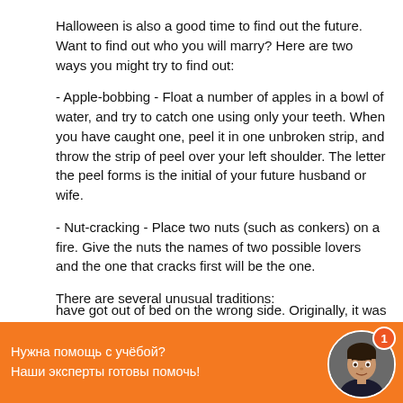Halloween is also a good time to find out the future. Want to find out who you will marry? Here are two ways you might try to find out:
- Apple-bobbing - Float a number of apples in a bowl of water, and try to catch one using only your teeth. When you have caught one, peel it in one unbroken strip, and throw the strip of peel over your left shoulder. The letter the peel forms is the initial of your future husband or wife.
- Nut-cracking - Place two nuts (such as conkers) on a fire. Give the nuts the names of two possible lovers and the one that cracks first will be the one.
There are several unusual traditions:
have got out of bed on the wrong side. Originally, it was
[Figure (other): Orange banner with Russian text 'Нужна помощь с учёбой? Наши эксперты готовы помочь!' and a circular avatar photo of a woman with a red notification badge showing '1']